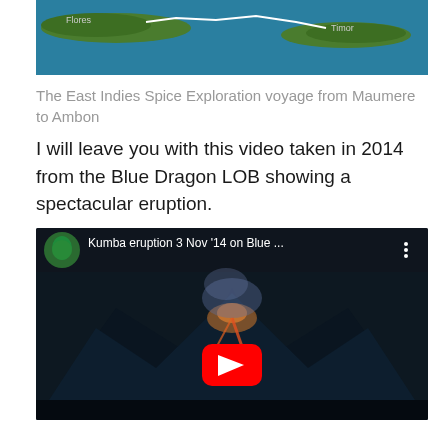[Figure (map): Satellite/aerial map showing the East Indies islands of Flores and Timor with a white route line traced across the ocean between them]
The East Indies Spice Exploration voyage from Maumere to Ambon
I will leave you with this video taken in 2014 from the Blue Dragon LOB showing a spectacular eruption.
[Figure (screenshot): YouTube video thumbnail showing 'Kumba eruption 3 Nov '14 on Blue ...' with a volcanic eruption scene at night, glowing lava, smoke, and a red YouTube play button in the center]